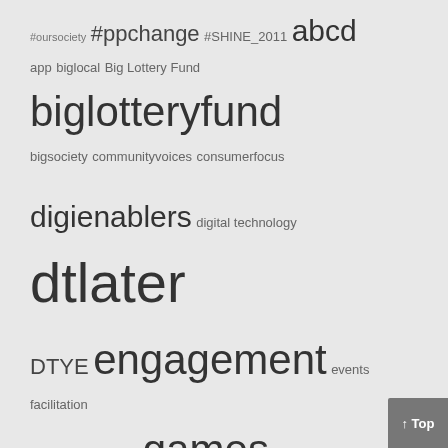#oursociety #ppchange #SHINE_2011 abcd app biglocal Big Lottery Fund biglotteryfund bigsociety communityvoices consumerfocus digienablers digital technology dtlater DTYE engagement events facilitation foreverManchester games hyperlocal innovation iphone kentconnects knowhownonprofit Media Trust NESTA networks nominettrust participatory design pds sharing slapham socialspaces Spark+Mettle tal12 talkaboutlocal transition tsrc UnLtd workshop yammer YoungFoundation young people Yoursquaremile
Meta
Log in
Entries feed
Comments feed
WordPress.org
Archives
May 2013